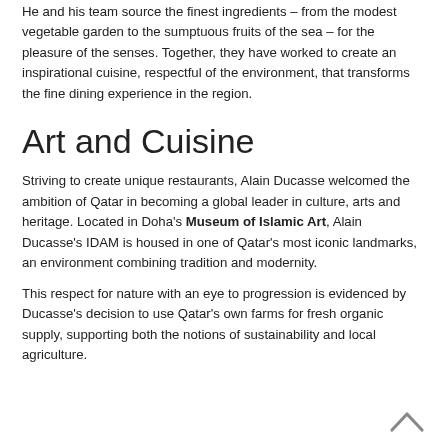He and his team source the finest ingredients – from the modest vegetable garden to the sumptuous fruits of the sea – for the pleasure of the senses. Together, they have worked to create an inspirational cuisine, respectful of the environment, that transforms the fine dining experience in the region.
Art and Cuisine
Striving to create unique restaurants, Alain Ducasse welcomed the ambition of Qatar in becoming a global leader in culture, arts and heritage. Located in Doha's Museum of Islamic Art, Alain Ducasse's IDAM is housed in one of Qatar's most iconic landmarks, an environment combining tradition and modernity.
This respect for nature with an eye to progression is evidenced by Ducasse's decision to use Qatar's own farms for fresh organic supply, supporting both the notions of sustainability and local agriculture.